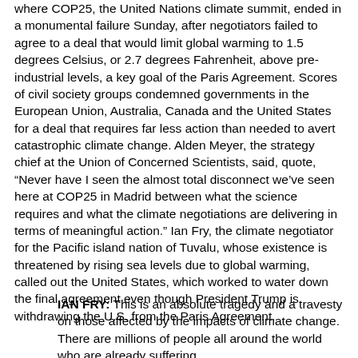where COP25, the United Nations climate summit, ended in a monumental failure Sunday, after negotiators failed to agree to a deal that would limit global warming to 1.5 degrees Celsius, or 2.7 degrees Fahrenheit, above pre-industrial levels, a key goal of the Paris Agreement. Scores of civil society groups condemned governments in the European Union, Australia, Canada and the United States for a deal that requires far less action than needed to avert catastrophic climate change. Alden Meyer, the strategy chief at the Union of Concerned Scientists, said, quote, “Never have I seen the almost total disconnect we’ve seen here at COP25 in Madrid between what the science requires and what the climate negotiations are delivering in terms of meaningful action.” Ian Fry, the climate negotiator for the Pacific island nation of Tuvalu, whose existence is threatened by rising sea levels due to global warming, called out the United States, which worked to water down the final agreement even though President Trump is withdrawing the U.S. from the Paris Agreement.
IAN FRY: This is an absolute tragedy and a travesty on those affected by the impacts of climate change. There are millions of people all around the world who are already suffering